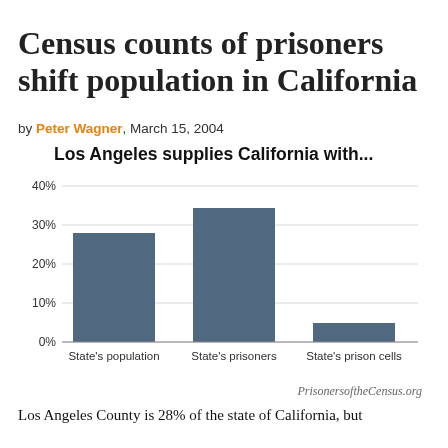Census counts of prisoners shift population in California
by Peter Wagner, March 15, 2004
[Figure (bar-chart): Los Angeles supplies California with...]
PrisonersoftheCensus.org
Los Angeles County is 28% of the state of California, but